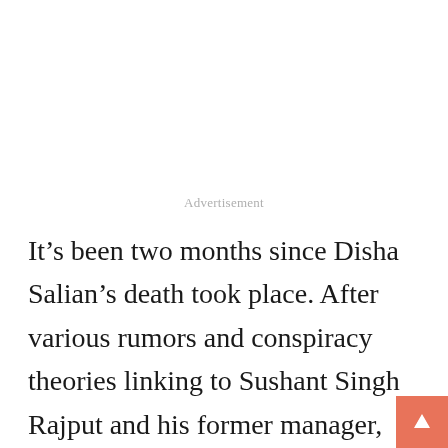Advertisement
It’s been two months since Disha Salian’s death took place. After various rumors and conspiracy theories linking to Sushant Singh Rajput and his former manager, police has prompted an investigation. The Mumbai police have also appealed to people to come forward only if they have ‘authentic information’ and report for the